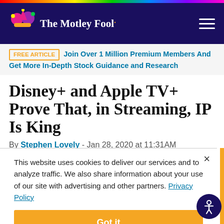The Motley Fool
FREE ARTICLE | Join Over 1 Million Premium Members And Get More In-Depth Stock Guidance and Research
Disney+ and Apple TV+ Prove That, in Streaming, IP Is King
By Stephen Lovely - Jan 28, 2020 at 11:31AM
This website uses cookies to deliver our services and to analyze traffic. We also share information about your use of our site with advertising and other partners. Privacy Policy
Got it
Cookie Settings